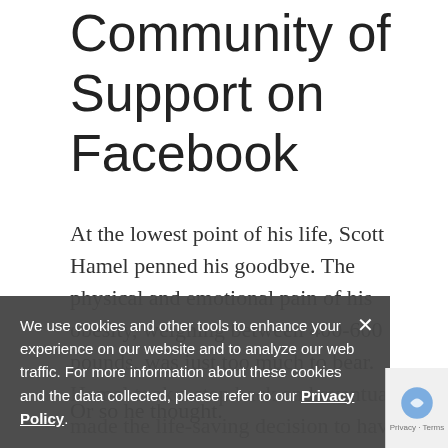Community of Support on Facebook
At the lowest point of his life, Scott Hamel penned his goodbye. The physical and emotional pain of his obesity, weighing between 400-600 pounds, was just too much to bear.
Or so he thought.
Hamel took a step back and eventually made the life-saving decision to have bariatric surgery at Wentworth-Douglass Hospital.
We use cookies and other tools to enhance your experience on our website and to analyze our web traffic. For more information about these cookies and the data collected, please refer to our Privacy Policy.